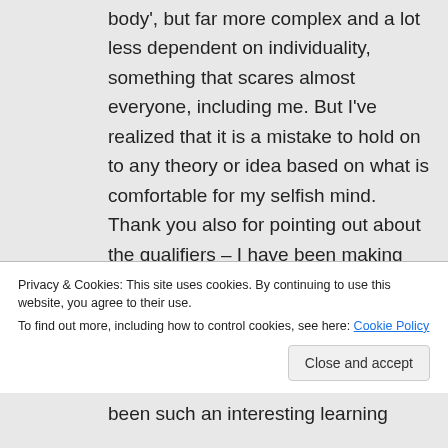body', but far more complex and a lot less dependent on individuality, something that scares almost everyone, including me. But I've realized that it is a mistake to hold on to any theory or idea based on what is comfortable for my selfish mind. Thank you also for pointing out about the qualifiers – I have been making more of an effort when presenting evidence to remain neutral and allow my readers to mull over their own conclusions. When I write opinion pieces, I
Privacy & Cookies: This site uses cookies. By continuing to use this website, you agree to their use. To find out more, including how to control cookies, see here: Cookie Policy
been such an interesting learning